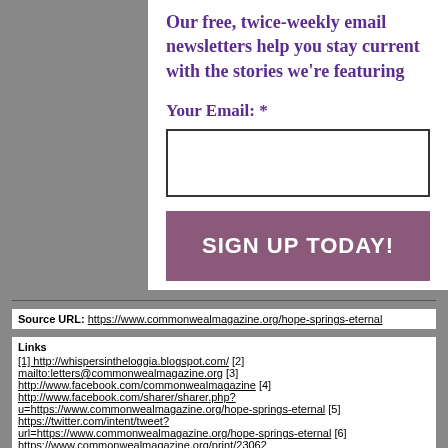Our free, twice-weekly email newsletters help you stay current with the stories we're featuring
Your Email: *
SIGN UP TODAY!
Source URL: https://www.commonwealmagazine.org/hope-springs-eternal
Links
[1] http://whispersintheloggia.blogspot.com/ [2] mailto:letters@commonwealmagazine.org [3] http://www.facebook.com/commonwealmagazine [4] http://www.facebook.com/sharer/sharer.php?u=https://www.commonwealmagazine.org/hope-springs-eternal [5] https://twitter.com/intent/tweet?url=https://www.commonwealmagazine.org/hope-springs-eternal [6] https://www.commonwealmagazine.org/print/23062